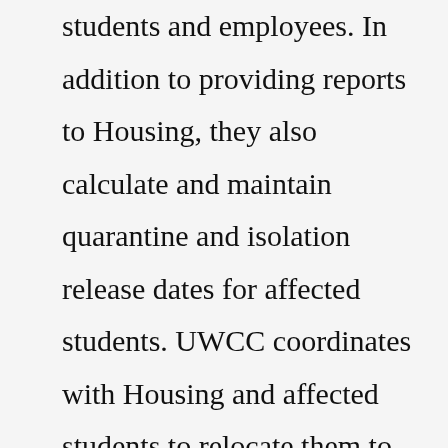students and employees. In addition to providing reports to Housing, they also calculate and maintain quarantine and isolation release dates for affected students. UWCC coordinates with Housing and affected students to relocate them to isolation and quarantine spaces.The first step in the process of creating a picklist starts on the overview panel of DESelect. There you need to click on the gear icon in the right corner of the screen. Then you will